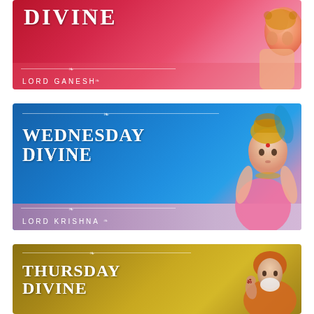[Figure (illustration): Banner for 'Divine' series showing Lord Ganesh on a red/pink gradient background with 'DIVINE' title and 'LORD GANESH' subtitle text]
[Figure (illustration): Banner for 'Wednesday Divine' featuring Lord Krishna on a blue gradient background with 'WEDNESDAY DIVINE' text and 'LORD KRISHNA' subtitle on purple strip]
[Figure (illustration): Banner for 'Thursday Divine' featuring Sai Baba on a golden/olive gradient background with 'THURSDAY DIVINE' text]